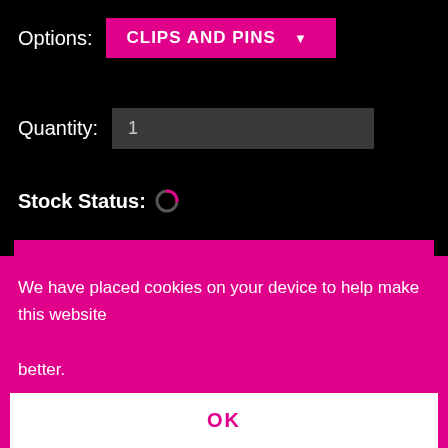Options:
CLIPS AND PINS
Quantity:
1
Stock Status:
Add to Basket
Description
The ID1700x is the most recent offering from the partnership of Injector Dynamics and Bosch Motorsport.
We have placed cookies on your device to help make this website better.
OK